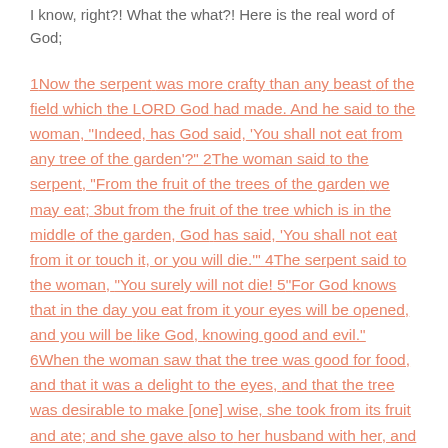I know, right?! What the what?! Here is the real word of God;
1Now the serpent was more crafty than any beast of the field which the LORD God had made. And he said to the woman, "Indeed, has God said, 'You shall not eat from any tree of the garden'?" 2The woman said to the serpent, "From the fruit of the trees of the garden we may eat; 3but from the fruit of the tree which is in the middle of the garden, God has said, 'You shall not eat from it or touch it, or you will die.'" 4The serpent said to the woman, "You surely will not die! 5"For God knows that in the day you eat from it your eyes will be opened, and you will be like God, knowing good and evil." 6When the woman saw that the tree was good for food, and that it was a delight to the eyes, and that the tree was desirable to make [one] wise, she took from its fruit and ate; and she gave also to her husband with her, and he ate. 7Then the eyes of both